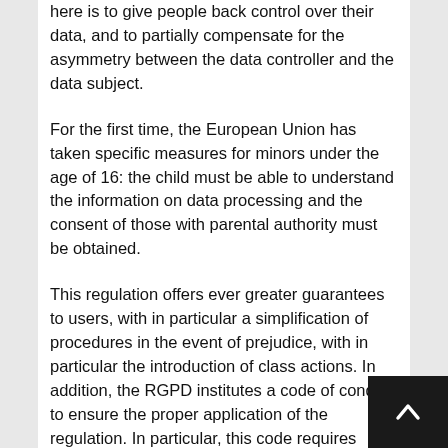here is to give people back control over their data, and to partially compensate for the asymmetry between the data controller and the data subject.
For the first time, the European Union has taken specific measures for minors under the age of 16: the child must be able to understand the information on data processing and the consent of those with parental authority must be obtained.
This regulation offers ever greater guarantees to users, with in particular a simplification of procedures in the event of prejudice, with in particular the introduction of class actions. In addition, the RGPD institutes a code of conduct to ensure the proper application of the regulation. In particular, this code requires cloud computing providers in Europe to put in place physical means of safeguarding and processing data on European territory. Microsoft has taken a public position : data of Europeans will remain within the European territory.